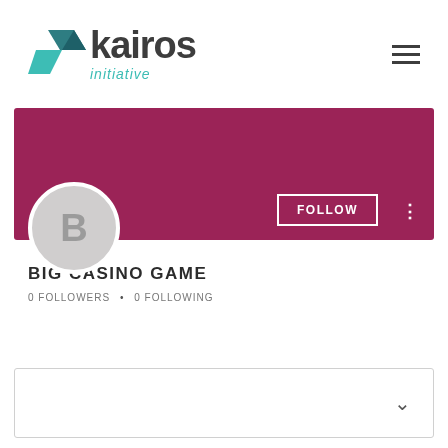[Figure (logo): Kairos Initiative logo with teal/dark angular chevron icon and text 'kairos initiative']
[Figure (screenshot): User profile page screenshot showing a magenta/maroon banner, circular avatar with letter B, FOLLOW button, three-dot menu, username BIG CASINO GAME, 0 FOLLOWERS • 0 FOLLOWING stats, and a collapsed card with chevron]
BIG CASINO GAME
0 FOLLOWERS • 0 FOLLOWING